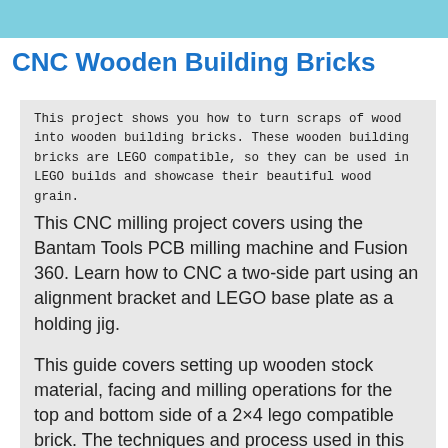CNC Wooden Building Bricks
This project shows you how to turn scraps of wood into wooden building bricks. These wooden building bricks are LEGO compatible, so they can be used in LEGO builds and showcase their beautiful wood grain.
This CNC milling project covers using the Bantam Tools PCB milling machine and Fusion 360. Learn how to CNC a two-side part using an alignment bracket and LEGO base plate as a holding jig.
This guide covers setting up wooden stock material, facing and milling operations for the top and bottom side of a 2×4 lego compatible brick. The techniques and process used in this CNC project can be adapted to create unique bricks and maybe even those rare types that are hard to come by.